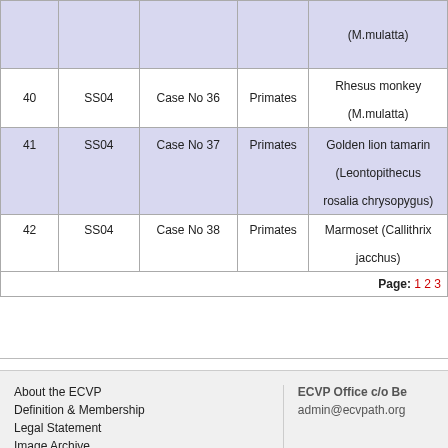|  | SS | Case | Order | Species |
| --- | --- | --- | --- | --- |
|  |  |  |  | (M.mulatta) |
| 40 | SS04 | Case No 36 | Primates | Rhesus monkey (M.mulatta) |
| 41 | SS04 | Case No 37 | Primates | Golden lion tamarin (Leontopithecus rosalia chrysopygus) |
| 42 | SS04 | Case No 38 | Primates | Marmoset (Callithrix jacchus) |
| Page: 1 2 3 |  |  |  |  |
About the ECVP | Definition & Membership | Legal Statement | Image Archive | Cookie & Privacy Policy | ECVP Office c/o Be... | admin@ecvpath.org